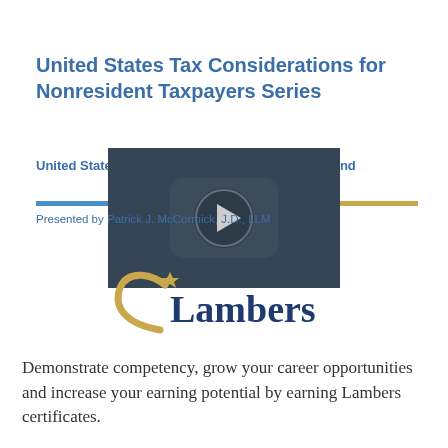United States Tax Considerations for Nonresident Taxpayers Series
United States International Tax Specialist – Inbound
[Figure (screenshot): Video thumbnail with play button overlay showing a video player interface for a tax considerations presentation]
Presented by Patrick J. McCormick, J.D., LLM
[Figure (logo): Lambers logo with stylized C shape and star accent in gold, company name in dark blue serif font]
Demonstrate competency, grow your career opportunities and increase your earning potential by earning Lambers certificates.